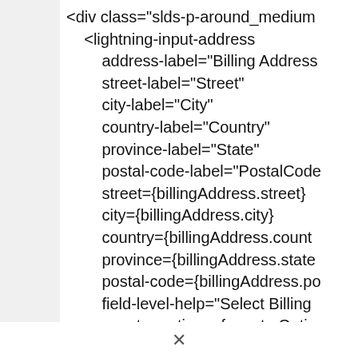<div class="slds-p-around_medium
    <lightning-input-address
        address-label="Billing Address
        street-label="Street"
        city-label="City"
        country-label="Country"
        province-label="State"
        postal-code-label="PostalCode
        street={billingAddress.street}
        city={billingAddress.city}
        country={billingAddress.count
        province={billingAddress.state
        postal-code={billingAddress.po
        field-level-help="Select Billing
        country-options={countryOpti
        province-options={stateOption
        onchange={handleAddressCha
×